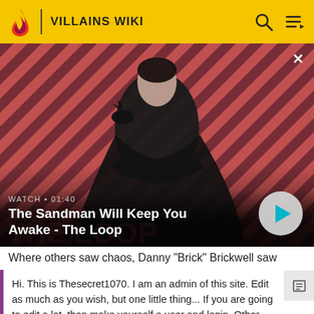VILLAINS WIKI
[Figure (screenshot): Promotional video thumbnail showing a pale man in black clothing with a crow on his shoulder, against a red and black diagonal striped background. Text overlay reads: WATCH • 01:40 / The Sandman Will Keep You Awake - The Loop. A circular play button is visible on the right.]
Where others saw chaos, Danny "Brick" Brickwell saw
Hi. This is Thesecret1070. I am an admin of this site. Edit as much as you wish, but one little thing... If you are going to edit a lot, then make yourself a user and login. Other than that, enjoy Villains Wiki!!!